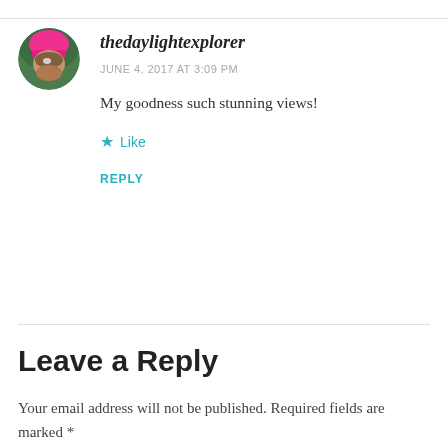[Figure (photo): Circular avatar photo of a person wearing a bright pink knit hat, outdoors with green background.]
thedaylightexplorer
JUNE 4, 2017 AT 3:09 PM
My goodness such stunning views!
Like
REPLY
Leave a Reply
Your email address will not be published. Required fields are marked *